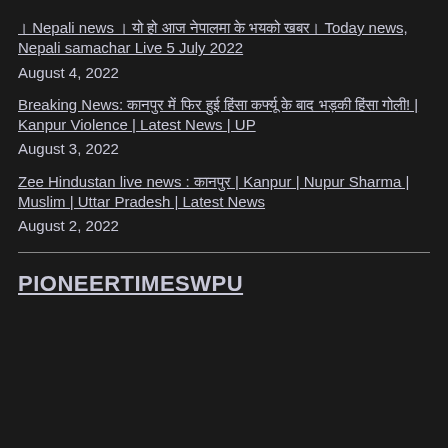। Nepali news । यो हो आज नेपालमा के भयको खबर। Today news, Nepali samachar Live 5 July 2022 August 4, 2022
Breaking News: कानपुर में फिर हुई हिंसा कर्फ्यू के बाद भड़की हिंसा गोली! | Kanpur Violence | Latest News | UP August 3, 2022
Zee Hindustan live news : कानपुर | Kanpur | Nupur Sharma | Muslim | Uttar Pradesh | Latest News August 2, 2022
PIONEERTIMESWPU